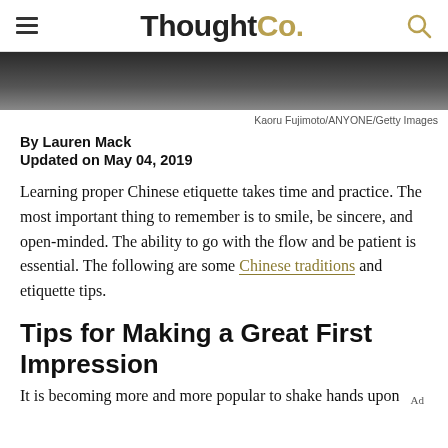ThoughtCo.
[Figure (photo): Partial photo of a person, dark tones, cropped at top of page]
Kaoru Fujimoto/ANYONE/Getty Images
By Lauren Mack
Updated on May 04, 2019
Learning proper Chinese etiquette takes time and practice. The most important thing to remember is to smile, be sincere, and open-minded. The ability to go with the flow and be patient is essential. The following are some Chinese traditions and etiquette tips.
Tips for Making a Great First Impression
It is becoming more and more popular to shake hands upon